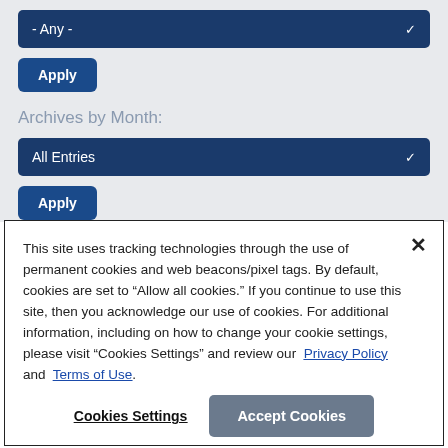[Figure (screenshot): Dark navy blue dropdown selector showing '- Any -' with chevron]
[Figure (screenshot): Apply button (dark blue, rounded corners)]
Archives by Month:
[Figure (screenshot): Dark navy blue dropdown selector showing 'All Entries' with chevron]
[Figure (screenshot): Apply button (dark blue, rounded corners)]
This site uses tracking technologies through the use of permanent cookies and web beacons/pixel tags. By default, cookies are set to “Allow all cookies.” If you continue to use this site, then you acknowledge our use of cookies. For additional information, including on how to change your cookie settings, please visit “Cookies Settings” and review our  Privacy Policy  and   Terms of Use.
Cookies Settings
Accept Cookies